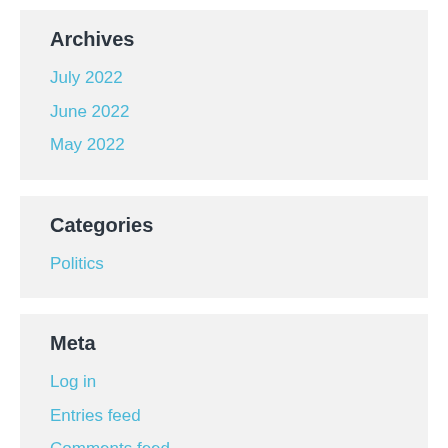Archives
July 2022
June 2022
May 2022
Categories
Politics
Meta
Log in
Entries feed
Comments feed